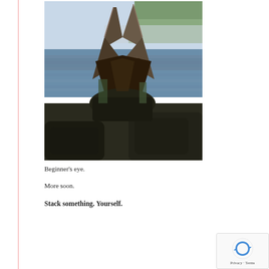[Figure (photo): Outdoor photograph of a rocky shoreline sculpture or stacked rocks/driftwood arrangement near water, with a forested misty island in the background. The image appears composite or glitched with two overlapping exposures.]
Beginner's eye.
More soon.
Stack something. Yourself.